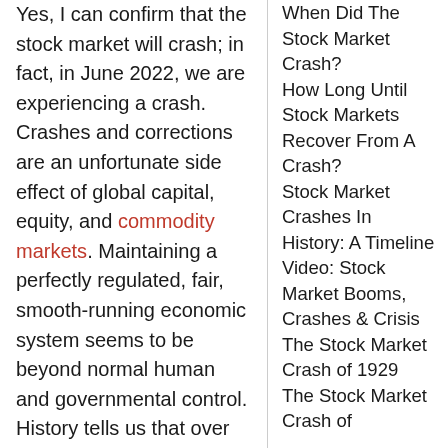Yes, I can confirm that the stock market will crash; in fact, in June 2022, we are experiencing a crash. Crashes and corrections are an unfortunate side effect of global capital, equity, and commodity markets. Maintaining a perfectly regulated, fair, smooth-running economic system seems to be beyond normal human and governmental control. History tells us that over the last 90 years, we have had six major stock market crashes, which is an average of one crash every 15 years.
When Did The Stock Market Crash?
How Long Until Stock Markets Recover From A Crash?
Stock Market Crashes In History: A Timeline
Video: Stock Market Booms, Crashes & Crisis
The Stock Market Crash of 1929
The Stock Market Crash of